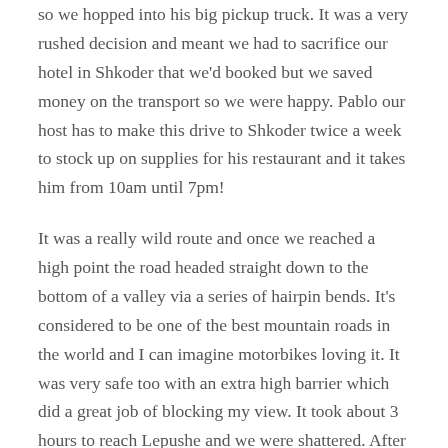so we hopped into his big pickup truck. It was a very rushed decision and meant we had to sacrifice our hotel in Shkoder that we'd booked but we saved money on the transport so we were happy. Pablo our host has to make this drive to Shkoder twice a week to stock up on supplies for his restaurant and it takes him from 10am until 7pm!
It was a really wild route and once we reached a high point the road headed straight down to the bottom of a valley via a series of hairpin bends. It's considered to be one of the best mountain roads in the world and I can imagine motorbikes loving it. It was very safe too with an extra high barrier which did a great job of blocking my view. It took about 3 hours to reach Lepushe and we were shattered. After a hot shower we headed into the stone restaurant